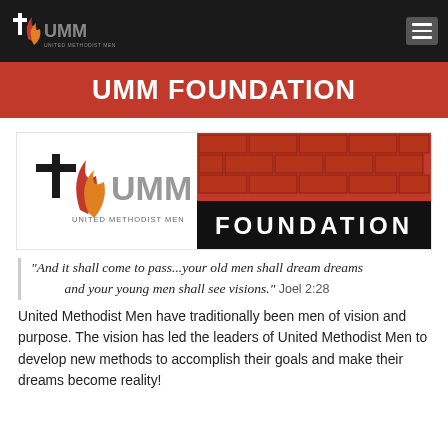UMM — United Methodist Men
UMM FOUNDATION
[Figure (logo): UMM Foundation banner logo: left side shows United Methodist Men logo (cross and flame with UMM text), right side shows brick wall pattern above FOUNDATION text on black background]
“And it shall come to pass...your old men shall dream dreams and your young men shall see visions.”  Joel 2:28
United Methodist Men have traditionally been men of vision and purpose. The vision has led the leaders of United Methodist Men to develop new methods to accomplish their goals and make their dreams become reality!